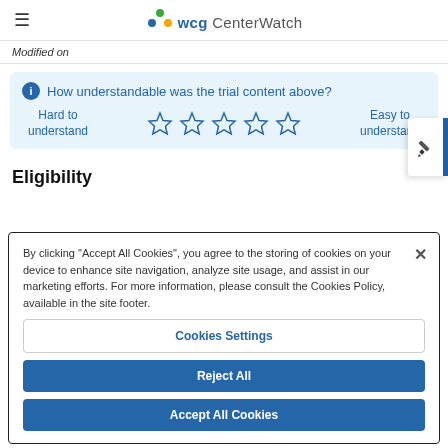WCG CenterWatch
Modified on
How understandable was the trial content above? Hard to understand ☆ ☆ ☆ ☆ ☆ Easy to understand
Eligibility
By clicking "Accept All Cookies", you agree to the storing of cookies on your device to enhance site navigation, analyze site usage, and assist in our marketing efforts. For more information, please consult the Cookies Policy, available in the site footer.
Cookies Settings
Reject All
Accept All Cookies